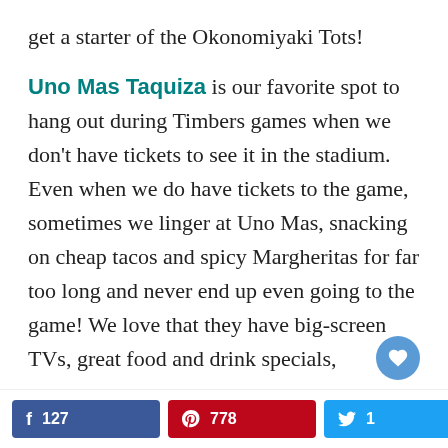get a starter of the Okonomiyaki Tots!
Uno Mas Taquiza is our favorite spot to hang out during Timbers games when we don't have tickets to see it in the stadium. Even when we do have tickets to the game, sometimes we linger at Uno Mas, snacking on cheap tacos and spicy Margheritas for far too long and never end up even going to the game! We love that they have big-screen TVs, great food and drink specials,
Facebook 127 | Pinterest 778 | Twitter 1 | 9L SHAres